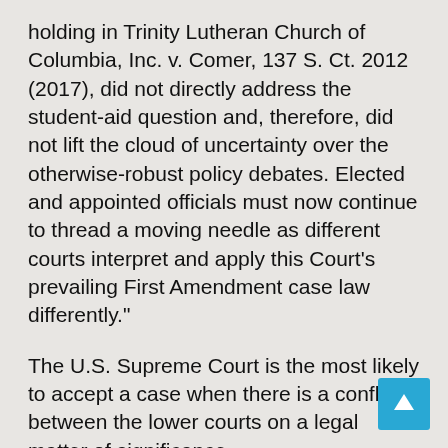holding in Trinity Lutheran Church of Columbia, Inc. v. Comer, 137 S. Ct. 2012 (2017), did not directly address the student-aid question and, therefore, did not lift the cloud of uncertainty over the otherwise-robust policy debates. Elected and appointed officials must now continue to thread a moving needle as different courts interpret and apply this Court's prevailing First Amendment case law differently."
The U.S. Supreme Court is the most likely to accept a case when there is a conflict between the lower courts on a legal matter of significance.
On June 28, 2019, the Court agreed to hear the case. A full listing of those who supported, and opposed, the right of Kendra Espinoza and families across the country to have a choice of